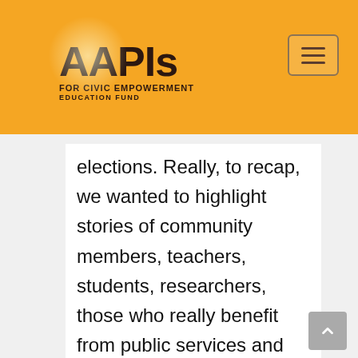[Figure (logo): AAPIs for Civic Empowerment Education Fund logo on golden/amber background with menu button]
elections. Really, to recap, we wanted to highlight stories of community members, teachers, students, researchers, those who really benefit from public services and public funding. And our goal was to hopefully change some hearts and minds of California voters, which is a